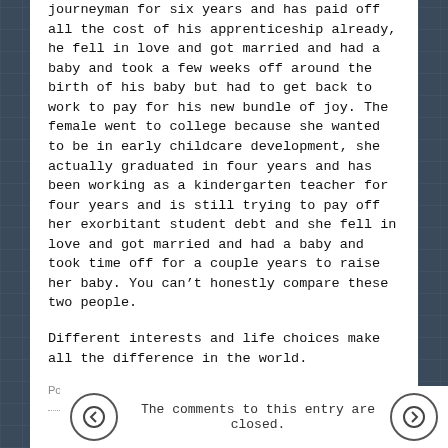journeyman for six years and has paid off all the cost of his apprenticeship already, he fell in love and got married and had a baby and took a few weeks off around the birth of his baby but had to get back to work to pay for his new bundle of joy. The female went to college because she wanted to be in early childcare development, she actually graduated in four years and has been working as a kindergarten teacher for four years and is still trying to pay off her exorbitant student debt and she fell in love and got married and had a baby and took time off for a couple years to raise her baby. You can't honestly compare these two people.
Different interests and life choices make all the difference in the world.
Posted by: Kris Neuhalfen | Sep 08, 2019 at 09:55 PM
The comments to this entry are closed.